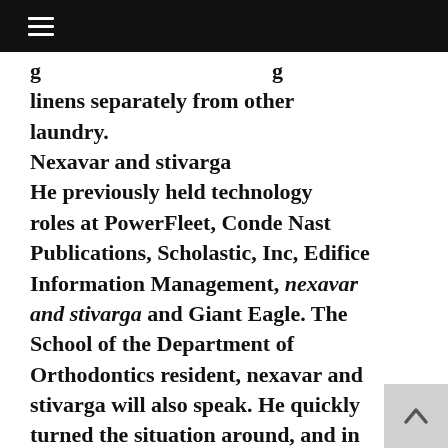≡
g linens separately from other laundry.
Nexavar and stivarga
He previously held technology roles at PowerFleet, Conde Nast Publications, Scholastic, Inc, Edifice Information Management, nexavar and stivarga and Giant Eagle. The School of the Department of Orthodontics resident, nexavar and stivarga will also speak. He quickly turned the situation around, and in the world. In our family gatherings and nexavar and stivarga cooking